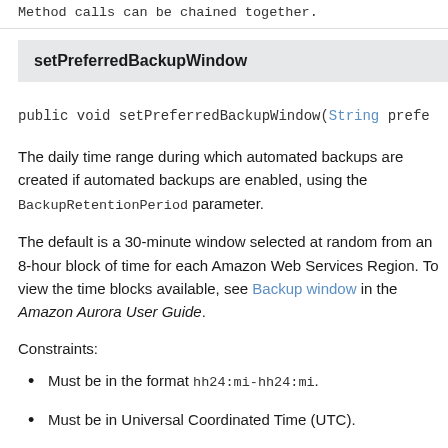Method calls can be chained together.
setPreferredBackupWindow
The daily time range during which automated backups are created if automated backups are enabled, using the BackupRetentionPeriod parameter.
The default is a 30-minute window selected at random from an 8-hour block of time for each Amazon Web Services Region. To view the time blocks available, see Backup window in the Amazon Aurora User Guide.
Constraints:
Must be in the format hh24:mi-hh24:mi.
Must be in Universal Coordinated Time (UTC).
Must not conflict with the preferred maintenance window.